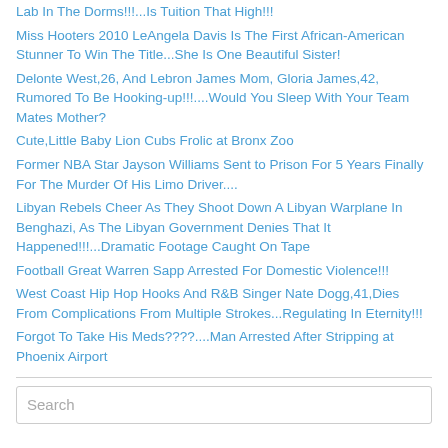Lab In The Dorms!!!...Is Tuition That High!!!
Miss Hooters 2010 LeAngela Davis Is The First African-American Stunner To Win The Title...She Is One Beautiful Sister!
Delonte West,26, And Lebron James Mom, Gloria James,42, Rumored To Be Hooking-up!!!....Would You Sleep With Your Team Mates Mother?
Cute,Little Baby Lion Cubs Frolic at Bronx Zoo
Former NBA Star Jayson Williams Sent to Prison For 5 Years Finally For The Murder Of His Limo Driver....
Libyan Rebels Cheer As They Shoot Down A Libyan Warplane In Benghazi, As The Libyan Government Denies That It Happened!!!...Dramatic Footage Caught On Tape
Football Great Warren Sapp Arrested For Domestic Violence!!!
West Coast Hip Hop Hooks And R&B Singer Nate Dogg,41,Dies From Complications From Multiple Strokes...Regulating In Eternity!!!
Forgot To Take His Meds????....Man Arrested After Stripping at Phoenix Airport
Search